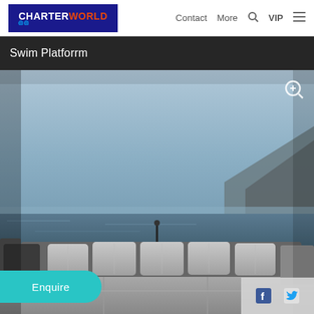CHARTERWORLD | Contact | More | VIP
Swim Platforrm
[Figure (photo): Yacht swim platform/deck with cushioned seating, overlooking open sea with mountains visible in the background under a clear blue sky. Monochrome-toned photograph taken from the aft deck of a luxury motor yacht.]
Enquire